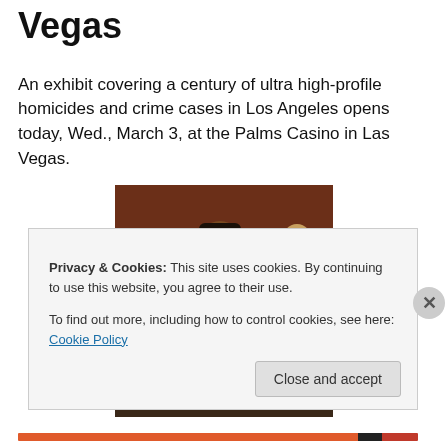Vegas
An exhibit covering a century of ultra high-profile homicides and crime cases in Los Angeles opens today, Wed., March 3, at the Palms Casino in Las Vegas.
[Figure (photo): A man in a suit trying on a glove in what appears to be a courtroom, with a law enforcement officer visible in the background.]
The first-time display is part of the training for 800
Privacy & Cookies: This site uses cookies. By continuing to use this website, you agree to their use.
To find out more, including how to control cookies, see here: Cookie Policy